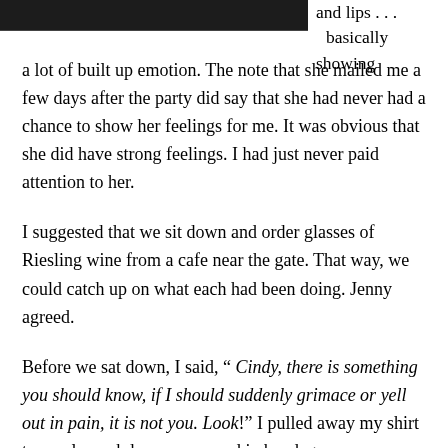[Figure (photo): Top portion of a close-up photo of a person's face, showing partial view; dark background at top of page]
and lips . . . basically showing a lot of built up emotion. The note that she mailed me a few days after the party did say that she had never had a chance to show her feelings for me. It was obvious that she did have strong feelings. I had just never paid attention to her.

I suggested that we sit down and order glasses of Riesling wine from a cafe near the gate. That way, we could catch up on what each had been doing. Jenny agreed.

Before we sat down, I said, “ Cindy, there is something you should know, if I should suddenly grimace or yell out in pain, it is not you. Look!” I pulled away my shirt to revel my abdomen wrapped in bandages.